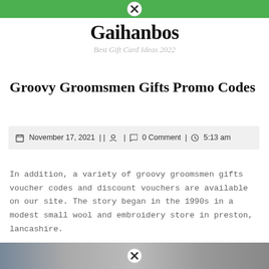Gaihanbos — Best Gift Card Ideas 2022
Groovy Groomsmen Gifts Promo Codes
November 17, 2021 | | 🔒 | 💬 0 Comment | 🕐 5:13 am
In addition, a variety of groovy groomsmen gifts voucher codes and discount vouchers are available on our site. The story began in the 1990s in a modest small wool and embroidery store in preston, lancashire.
[Figure (photo): Partial image visible at bottom of page, cut off, appears to be a product or lifestyle photo with a close button overlay]